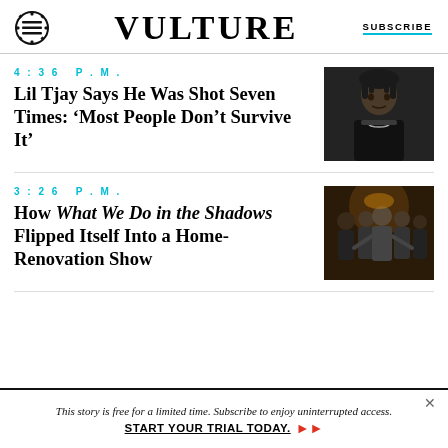VULTURE | SUBSCRIBE
4:36 P.M.
Lil Tjay Says He Was Shot Seven Times: ‘Most People Don’t Survive It’
[Figure (photo): Portrait photo of Lil Tjay wearing a black jacket and chain necklace against a dark background]
3:26 P.M.
How What We Do in the Shadows Flipped Itself Into a Home-Renovation Show
[Figure (photo): Scene from What We Do in the Shadows showing several people in a dimly lit room]
This story is free for a limited time. Subscribe to enjoy uninterrupted access. START YOUR TRIAL TODAY.